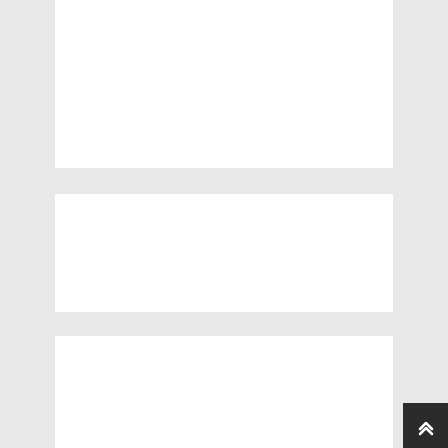[Figure (other): White content box at top of page (empty/placeholder area)]
FACEBOOK
GET MORE STUFF
Subscribe to our mailing list and get interesting stuff and updates